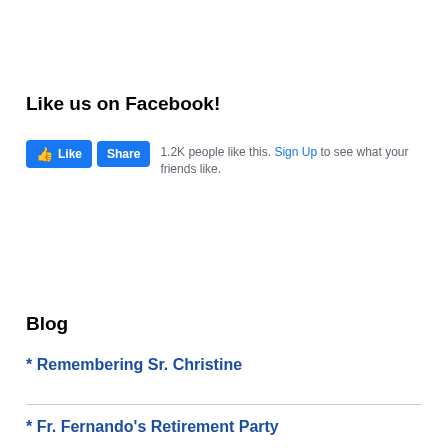Like us on Facebook!
[Figure (screenshot): Facebook Like and Share buttons widget showing '1.2K people like this. Sign Up to see what your friends like.']
Blog
* Remembering Sr. Christine
* Fr. Fernando's Retirement Party